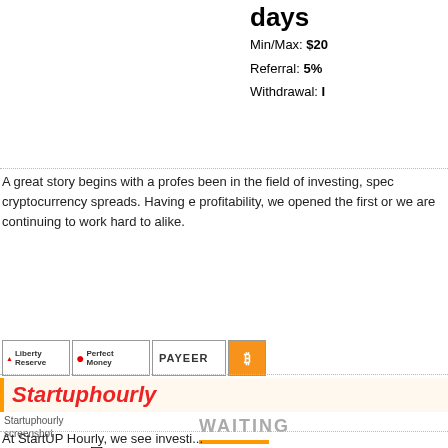days
Min/Max: $20
Referral: 5%
Withdrawal: I
A great story begins with a profes been in the field of investing, spec cryptocurrency spreads. Having e profitability, we opened the first or we are continuing to work hard to alike.
[Figure (screenshot): Payment processor logos: Liberty Reserve, Perfect Money, PAYEER, Bitcoin]
Startuphourly
[Figure (screenshot): Startuphourly screenshot placeholder with monitoring icons (AHM, S, chart, H, 8, coin, M, arrow, ALL HM, various rating icons) and WAITING status with orange bar]
WAITING
1.46% - 1.6...
hours | 4.3...
for 48 hou...
days | 50%...
weeks
Min/Max: $10
Referral: 7%
Withdrawal: I
At StartUP Hourly, we see investi...